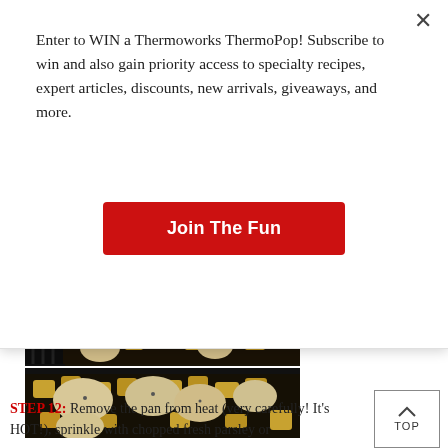Enter to WIN a Thermoworks ThermoPop! Subscribe to win and also gain priority access to specialty recipes, expert articles, discounts, new arrivals, giveaways, and more.
Join The Fun
[Figure (photo): Top-down view of chicken pieces and diced potatoes cooking in a dark skillet on a grill]
[Figure (photo): Close-up of chicken thighs and diced golden potatoes in a black cast iron skillet]
TOP
STEP 12: Remove the pan from heat (very carefully! It's HOT!), sprinkle with chopped fresh parsley or dill, and serve immediately. Enjoy!